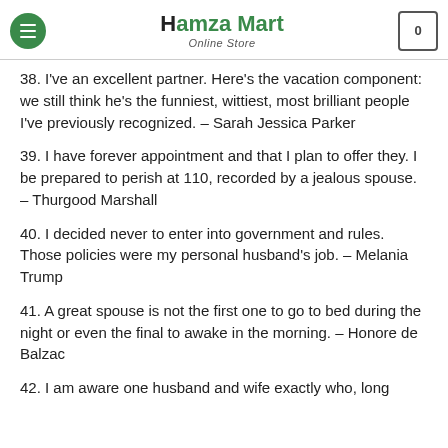Hamza Mart Online Store
38. I've an excellent partner. Here's the vacation component: we still think he's the funniest, wittiest, most brilliant people I've previously recognized. – Sarah Jessica Parker
39. I have forever appointment and that I plan to offer they. I be prepared to perish at 110, recorded by a jealous spouse. – Thurgood Marshall
40. I decided never to enter into government and rules. Those policies were my personal husband's job. – Melania Trump
41. A great spouse is not the first one to go to bed during the night or even the final to awake in the morning. – Honore de Balzac
42. I am aware one husband and wife exactly who, long…